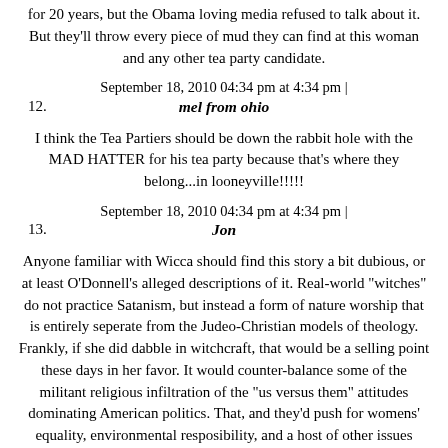for 20 years, but the Obama loving media refused to talk about it. But they'll throw every piece of mud they can find at this woman and any other tea party candidate.
September 18, 2010 04:34 pm at 4:34 pm |
12. mel from ohio
I think the Tea Partiers should be down the rabbit hole with the MAD HATTER for his tea party because that's where they belong...in looneyville!!!!!
September 18, 2010 04:34 pm at 4:34 pm |
13. Jon
Anyone familiar with Wicca should find this story a bit dubious, or at least O'Donnell's alleged descriptions of it. Real-world "witches" do not practice Satanism, but instead a form of nature worship that is entirely seperate from the Judeo-Christian models of theology. Frankly, if she did dabble in witchcraft, that would be a selling point these days in her favor. It would counter-balance some of the militant religious infiltration of the "us versus them" attitudes dominating American politics. That, and they'd push for womens' equality, environmental resposibility, and a host of other issues desperately in need of better representation.